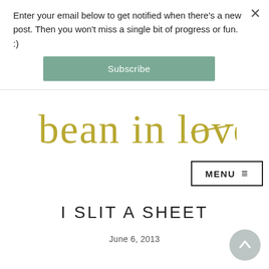Enter your email below to get notified when there's a new post. Then you won't miss a single bit of progress or fun. :)
[Figure (other): Subscribe button - teal/green rounded rectangle with white text 'Subscribe']
[Figure (logo): Bean in love - handwritten cursive script logo in gold/olive color]
[Figure (other): MENU button with three horizontal lines icon, black border rectangle]
I SLIT A SHEET
June 6, 2013
[Figure (other): Scroll-to-top circular button with upward chevron arrow, grey color]